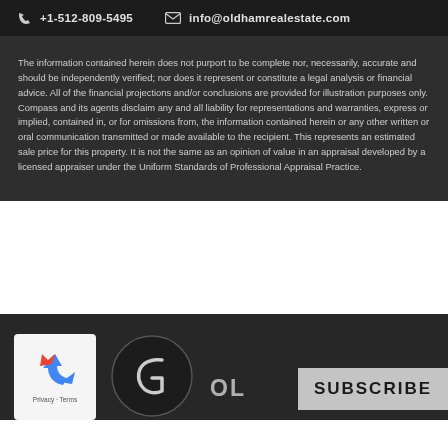+1-512-809-5495   info@oldhamrealestate.com
The information contained herein does not purport to be complete nor, necessarily, accurate and should be independently verified; nor does it represent or constitute a legal analysis or financial advice. All of the financial projections and/or conclusions are provided for illustration purposes only. Compass and its agents disclaim any and all liability for representations and warranties, express or implied, contained in, or for omissions from, the information contained herein or any other written or oral communication transmitted or made available to the recipient. This represents an estimated sale price for this property. It is not the same as an opinion of value in an appraisal developed by a licensed appraiser under the Uniform Standards of Professional Appraisal Practice.
[Figure (logo): reCAPTCHA privacy widget with recycling arrows icon and Privacy - Terms text]
[Figure (logo): Compass G logo in dark circle]
OL
SUBSCRIBE